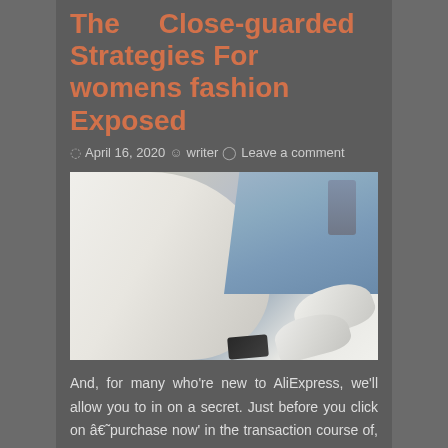The Close-guarded Strategies For womens fashion Exposed
April 16, 2020   writer   Leave a comment
[Figure (photo): Flat lay photo showing white fabric/t-shirt on left, blue denim jeans at top right, white sneakers at bottom right, and a dark smartphone at bottom center, all on a light surface.]
And, for many who're new to AliExpress, we'll allow you to in on a secret. Just before you click on â€˜purchase now' in the transaction course of, take a second to check for